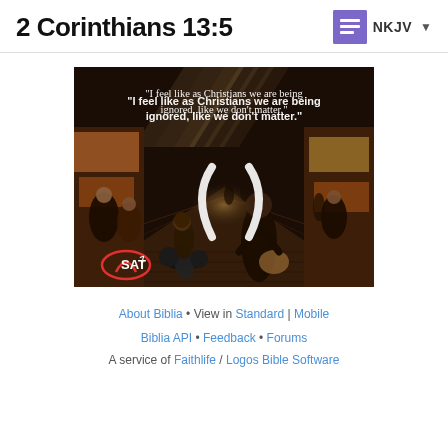2 Corinthians 13:5
[Figure (photo): A marketplace street scene (souk/bazaar) with people walking, a motorcycle, colorful goods, light streaming through a slatted roof. White text overlay reads: "I feel like as Christians we are being ignored, like we don't matter." SAT7 logo visible in bottom-left corner. Large white parentheses symbols overlay the image.]
About Biblia • View in Standard | Mobile
Biblia API • Feedback • Forums
A service of Faithlife / Logos Bible Software